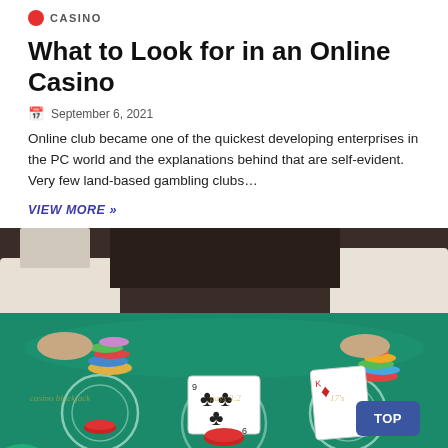CASINO
What to Look for in an Online Casino
September 6, 2021
Online club became one of the quickest developing enterprises in the PC world and the explanations behind that are self-evident. Very few land-based gambling clubs…
VIEW MORE »
[Figure (photo): A casino blackjack table with green felt, playing cards including a 9 of clubs, red and multicolor chips, and a dealer's hands and a player's hands visible. A 'TOP' button is overlaid in the bottom right.]